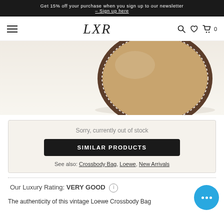Get 15% off your purchase when you sign up to our newsletter – Sign up here
[Figure (logo): LXR luxury resale brand logo with hamburger menu, search, heart, and cart icons in navigation bar]
[Figure (photo): Circular brown suede crossbody bag with dark leather trim, partial view showing the round shape against white background]
Sorry, currently out of stock
SIMILAR PRODUCTS
See also: Crossbody Bag, Loewe, New Arrivals
Our Luxury Rating: VERY GOOD
The authenticity of this vintage Loewe Crossbody Bag